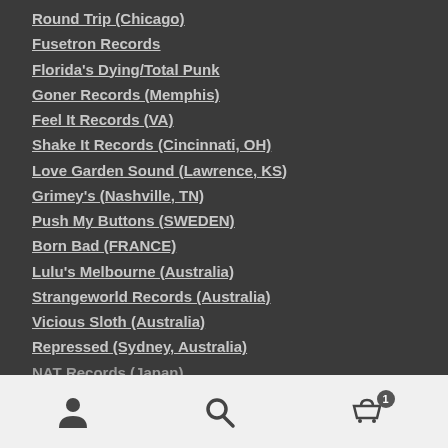Round Trip (Chicago)
Fusetron Records
Florida's Dying/Total Punk
Goner Records (Memphis)
Feel It Records (VA)
Shake It Records (Cincinnati, OH)
Love Garden Sound (Lawrence, KS)
Grimey's (Nashville, TN)
Push My Buttons (SWEDEN)
Born Bad (FRANCE)
Lulu's Melbourne (Australia)
Strangeworld Records (Australia)
Vicious Sloth (Australia)
Repressed (Sydney, Australia)
NAT Records (Japan)
Navigation bar with person, search, and cart (1 item) icons